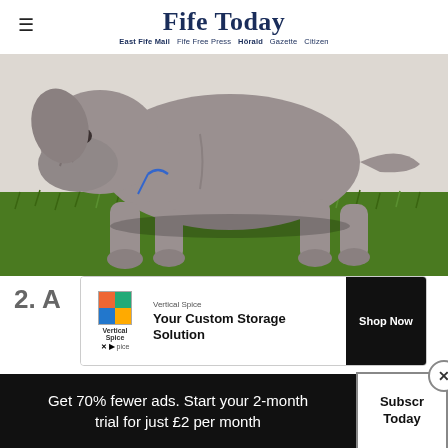Fife Today
East Fife Mail  Fife Free Press  Hörald  Gazette  Citizen
[Figure (photo): A large grey Neapolitan Mastiff puppy standing on green grass against a white background, with a small blue bow tie around its neck.]
2. A
[Figure (other): Advertisement banner for Vertical Spice: 'Your Custom Storage Solution' with Shop Now button]
Recognising Great Dane puppies from photos
Get 70% fewer ads. Start your 2-month trial for just £2 per month
Subscribe Today